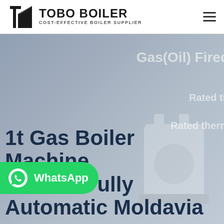[Figure (logo): Tobo Boiler logo with icon and text 'TOBO BOILER - COST-EFFECTIVE BOILER SUPPLIER']
[Figure (photo): Hero background image showing a gas/oil fired boiler machine in grey-blue tones with partial text overlays reading 'Gas(Oil) Fired', 'Rated th...', 'Rated therm...' on the right side]
1t Gas Boiler Machine Commercial Fully Automatic Moldavia
[Figure (other): WhatsApp contact button (green rounded rectangle) with WhatsApp icon and 'WhatsApp' label]